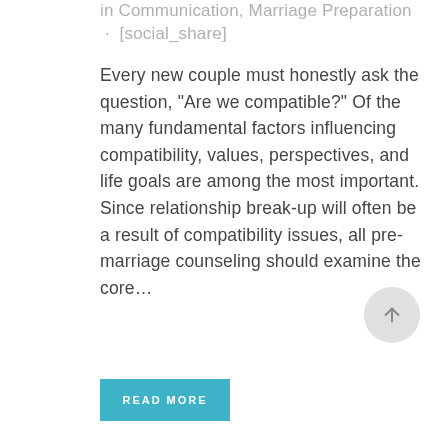in Communication, Marriage Preparation · [social_share]
Every new couple must honestly ask the question, "Are we compatible?" Of the many fundamental factors influencing compatibility, values, perspectives, and life goals are among the most important. Since relationship break-up will often be a result of compatibility issues, all pre-marriage counseling should examine the core…
READ MORE